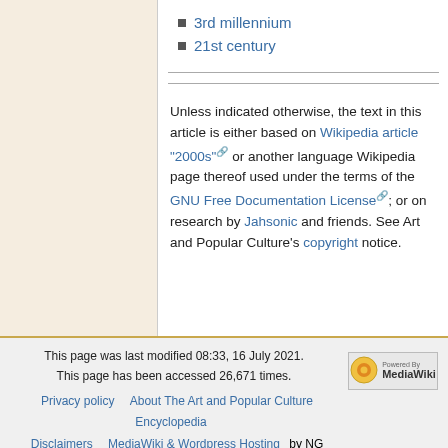3rd millennium
21st century
Unless indicated otherwise, the text in this article is either based on Wikipedia article "2000s" or another language Wikipedia page thereof used under the terms of the GNU Free Documentation License; or on research by Jahsonic and friends. See Art and Popular Culture's copyright notice.
This page was last modified 08:33, 16 July 2021. This page has been accessed 26,671 times. Privacy policy | About The Art and Popular Culture Encyclopedia | Disclaimers | MediaWiki & Wordpress Hosting by NG Communications